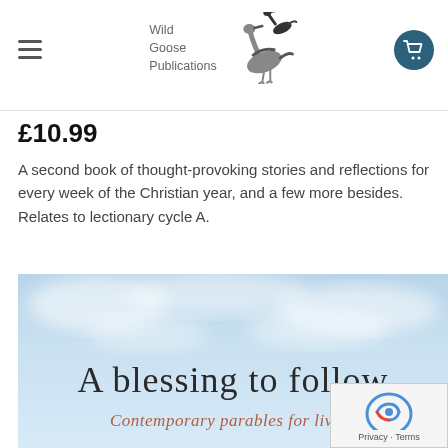Wild Goose Publications
£10.99
A second book of thought-provoking stories and reflections for every week of the Christian year, and a few more besides. Relates to lectionary cycle A.
[Figure (photo): Book cover for 'A blessing to follow – Contemporary parables for living', showing a blue sky with clouds, large text 'A blessing to follow' and subtitle 'Contemporary parables for living' in rust/terracotta color.]